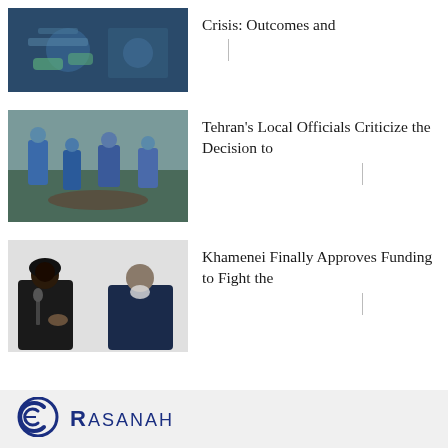[Figure (photo): Medical workers in protective gear around a patient in a clinical setting]
Crisis: Outcomes and
[Figure (photo): People in blue hazmat suits at an outdoor burial site with a body on the ground]
Tehran's Local Officials Criticize the Decision to
[Figure (photo): Two men seated — one in clerical black turban robes speaking at microphone, one in suit with white beard]
Khamenei Finally Approves Funding to Fight the
[Figure (logo): Rasanah logo with circular icon and bold text RASANAH]